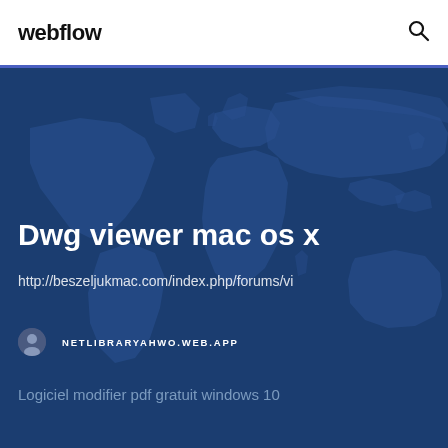webflow
[Figure (screenshot): Webflow website screenshot showing a dark blue hero section with a world map background, article title 'Dwg viewer mac os x', a URL link, author avatar and name 'NETLIBRARYAHWO.WEB.APP', and subtitle 'Logiciel modifier pdf gratuit windows 10']
Dwg viewer mac os x
http://beszeljukmac.com/index.php/forums/vi
NETLIBRARYAHWO.WEB.APP
Logiciel modifier pdf gratuit windows 10